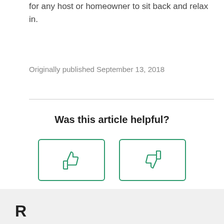for any host or homeowner to sit back and relax in.
Originally published September 13, 2018
Was this article helpful?
[Figure (infographic): Two buttons side by side: a thumbs-up icon and a thumbs-down icon, both outlined in green, for user feedback on the article.]
R